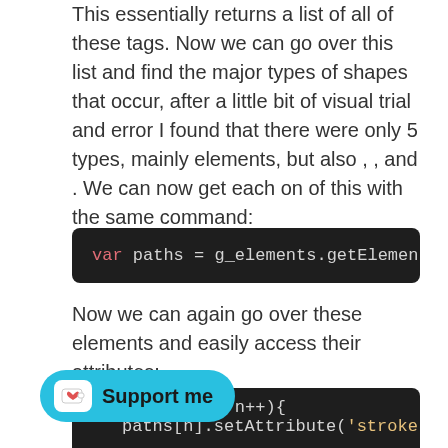This essentially returns a list of all of these tags. Now we can go over this list and find the major types of shapes that occur, after a little bit of visual trial and error I found that there were only 5 types, mainly elements, but also , , and . We can now get each on of this with the same command:
[Figure (screenshot): Code block showing: var paths = g_elements.getElementsByTagName("p]
Now we can again go over these elements and easily access their attributes:
[Figure (screenshot): Code block showing: paths.length; n++){ paths[n].setAttribute('stroke', strokeCol)]
[Figure (other): Support me button with Ko-fi icon]